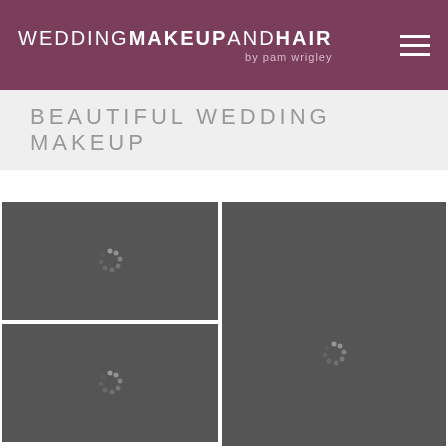WEDDING MAKEUP AND HAIR by pam wrigley
BEAUTIFUL WEDDING MAKEUP
[Figure (photo): Loading placeholder image top-left in a 2-column photo gallery grid]
[Figure (photo): Loading placeholder image bottom-left in a 2-column photo gallery grid]
[Figure (photo): Loading placeholder image full-height right column in a 2-column photo gallery grid]